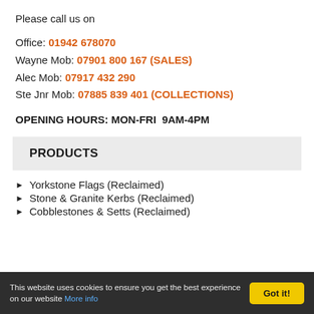Please call us on
Office: 01942 678070
Wayne Mob: 07901 800 167 (SALES)
Alec Mob: 07917 432 290
Ste Jnr Mob: 07885 839 401 (COLLECTIONS)
OPENING HOURS: MON-FRI  9AM-4PM
PRODUCTS
Yorkstone Flags (Reclaimed)
Stone & Granite Kerbs (Reclaimed)
Cobblestones & Setts (Reclaimed)
This website uses cookies to ensure you get the best experience on our website More info  Got it!